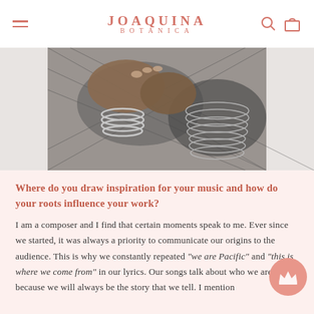JOAQUINA BOTANICA
[Figure (photo): Black and white close-up photo of hands adorned with multiple silver bangles and bracelets, wearing a dark mesh/net top]
Where do you draw inspiration for your music and how do your roots influence your work?
I am a composer and I find that certain moments speak to me. Ever since we started, it was always a priority to communicate our origins to the audience. This is why we constantly repeated “we are Pacific” and “this is where we come from” in our lyrics. Our songs talk about who we are, because we will always be the story that we tell. I mention